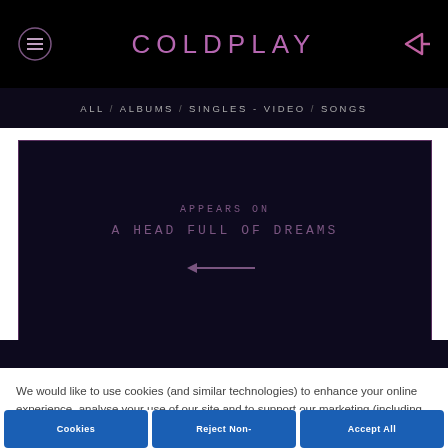COLDPLAY
ALL / ALBUMS / SINGLES - VIDEO / SONGS
APPEARS ON
A HEAD FULL OF DREAMS
We would like to use cookies (and similar technologies) to enhance your online experience, analyse your use of our site and to support our marketing (including through ad personalisation, ad insights and ad targeting). If you are happy for us to set cookies other than those strictly necessary for our site to work, please click “Accept All Cookies”. You can also manage your cookie preferences across our site now or later by clicking “Cookies Settings”. For more information, please read our Cookies Policy
Cookies  |  Reject Non-  |  Accept All